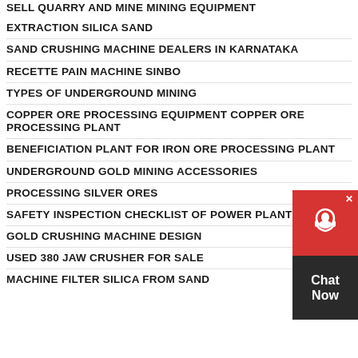EXTRACTION SILICA SAND
SAND CRUSHING MACHINE DEALERS IN KARNATAKA
RECETTE PAIN MACHINE SINBO
TYPES OF UNDERGROUND MINING
COPPER ORE PROCESSING EQUIPMENT COPPER ORE PROCESSING PLANT
BENEFICIATION PLANT FOR IRON ORE PROCESSING PLANT
UNDERGROUND GOLD MINING ACCESSORIES
PROCESSING SILVER ORES
SAFETY INSPECTION CHECKLIST OF POWER PLANT
GOLD CRUSHING MACHINE DESIGN
USED 380 JAW CRUSHER FOR SALE
MACHINE FILTER SILICA FROM SAND
[Figure (other): Chat Now widget with red header containing headset icon and close button, dark body with 'Chat Now' text]